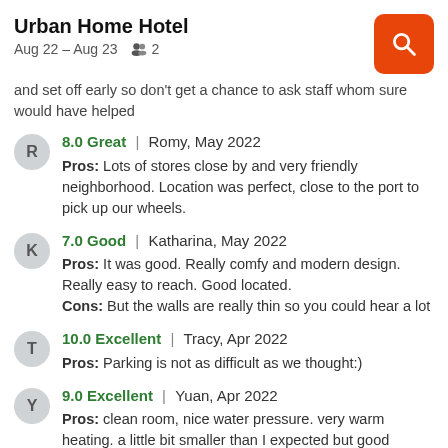Urban Home Hotel
Aug 22 – Aug 23   2
and set off early so don't get a chance to ask staff whom sure would have helped
8.0 Great | Romy, May 2022
Pros: Lots of stores close by and very friendly neighborhood. Location was perfect, close to the port to pick up our wheels.
7.0 Good | Katharina, May 2022
Pros: It was good. Really comfy and modern design. Really easy to reach. Good located.
Cons: But the walls are really thin so you could hear a lot
10.0 Excellent | Tracy, Apr 2022
Pros: Parking is not as difficult as we thought:)
9.0 Excellent | Yuan, Apr 2022
Pros: clean room, nice water pressure. very warm heating. a little bit smaller than I expected but good enough for the price in hamburg. Location in veddel, close to bus stop. it always takes 13+ S3 to tourist attractions. like 28min average in public transport to a certain place.